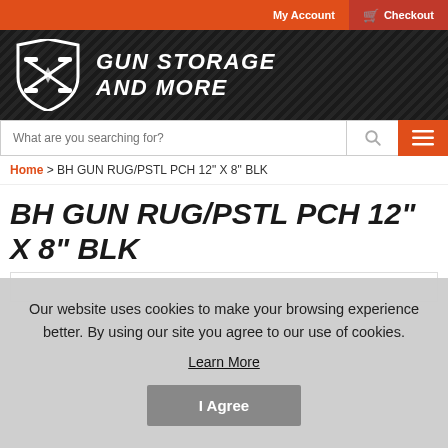My Account  Checkout
[Figure (logo): Gun Storage And More website header logo with shield icon containing crossed pistols and italic bold text GUN STORAGE AND MORE on dark textured background]
What are you searching for?
Home > BH GUN RUG/PSTL PCH 12" X 8" BLK
BH GUN RUG/PSTL PCH 12" X 8" BLK
Our website uses cookies to make your browsing experience better. By using our site you agree to our use of cookies.
Learn More
I Agree